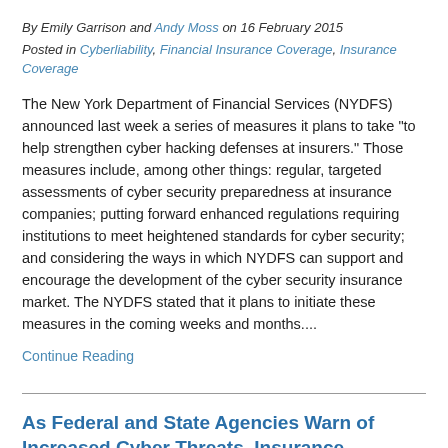By Emily Garrison and Andy Moss on 16 February 2015
Posted in Cyberliability, Financial Insurance Coverage, Insurance Coverage
The New York Department of Financial Services (NYDFS) announced last week a series of measures it plans to take "to help strengthen cyber hacking defenses at insurers." Those measures include, among other things: regular, targeted assessments of cyber security preparedness at insurance companies; putting forward enhanced regulations requiring institutions to meet heightened standards for cyber security; and considering the ways in which NYDFS can support and encourage the development of the cyber security insurance market. The NYDFS stated that it plans to initiate these measures in the coming weeks and months....
Continue Reading
As Federal and State Agencies Warn of Increased Cyber Threats, Insurance Incentives for Compliance with NIST Cybersecurity Framework May Be on the...